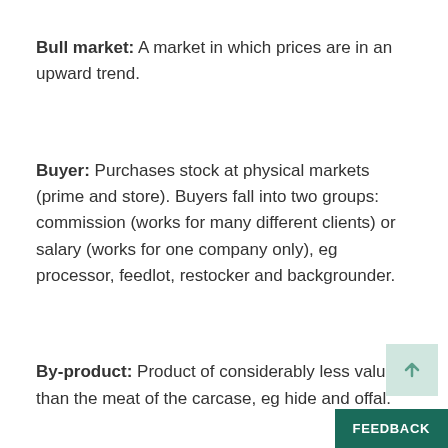Bull market: A market in which prices are in an upward trend.
Buyer: Purchases stock at physical markets (prime and store). Buyers fall into two groups: commission (works for many different clients) or salary (works for one company only), eg processor, feedlot, restocker and backgrounder.
By-product: Product of considerably less value than the meat of the carcase, eg hide and offal.
Back to top
¢/kg: Cents per kilogram. Units which cattle are